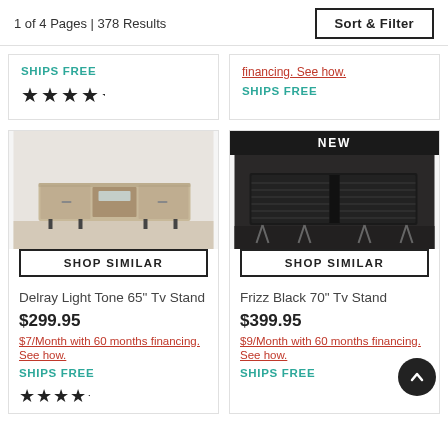1 of 4 Pages | 378 Results
Sort & Filter
SHIPS FREE
SHIPS FREE
[Figure (photo): Delray Light Tone 65" TV Stand — light wood finish TV console with two side drawers and open center compartment, on short black legs]
SHOP SIMILAR
Delray Light Tone 65" Tv Stand
$299.95
$7/Month with 60 months financing. See how.
SHIPS FREE
[Figure (photo): Frizz Black 70" TV Stand — all-black console with slatted door fronts on hairpin metal legs, with NEW badge overlay]
SHOP SIMILAR
Frizz Black 70" Tv Stand
$399.95
$9/Month with 60 months financing. See how.
SHIPS FREE